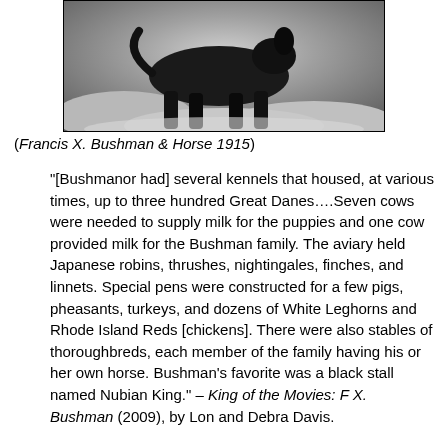[Figure (photo): Black and white photograph of Francis X. Bushman with a horse, 1915. A dark animal (appears to be a dog or horse) is visible against a light rocky or sandy background.]
(Francis X. Bushman & Horse 1915)
“[Bushmanor had] several kennels that housed, at various times, up to three hundred Great Danes….Seven cows were needed to supply milk for the puppies and one cow provided milk for the Bushman family. The aviary held Japanese robins, thrushes, nightingales, finches, and linnets. Special pens were constructed for a few pigs, pheasants, turkeys, and dozens of White Leghorns and Rhode Island Reds [chickens]. There were also stables of thoroughbreds, each member of the family having his or her own horse. Bushman’s favorite was a black stall named Nubian King.” – King of the Movies: F X. Bushman (2009), by Lon and Debra Davis.